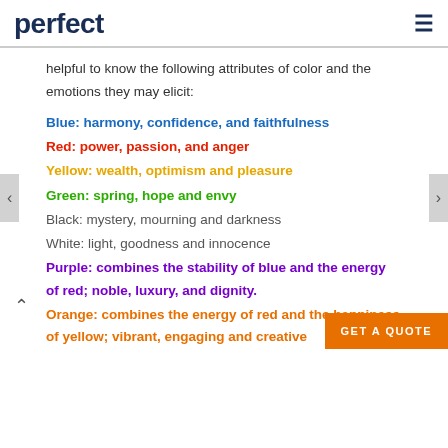perfect
helpful to know the following attributes of color and the emotions they may elicit:
Blue: harmony, confidence, and faithfulness
Red: power, passion, and anger
Yellow: wealth, optimism and pleasure
Green: spring, hope and envy
Black: mystery, mourning and darkness
White: light, goodness and innocence
Purple: combines the stability of blue and the energy of red; noble, luxury, and dignity.
Orange: combines the energy of red and the happiness of yellow; vibrant, engaging and creative